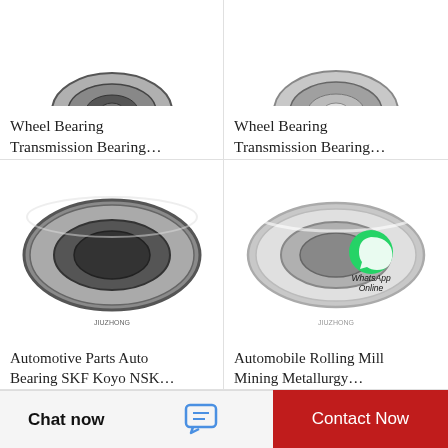[Figure (photo): Top portion of a tapered/spherical bearing, top left product card (cropped at top)]
Wheel Bearing Transmission Bearing…
[Figure (photo): Top portion of a tapered roller bearing, top right product card (cropped at top)]
Wheel Bearing Transmission Bearing…
[Figure (photo): Full view of a dark gray tapered roller bearing, bottom left product card]
Automotive Parts Auto Bearing SKF Koyo NSK…
[Figure (photo): Full view of a silver/chrome tapered roller bearing with WhatsApp Online overlay, bottom right product card]
Automobile Rolling Mill Mining Metallurgy…
Chat now
Contact Now